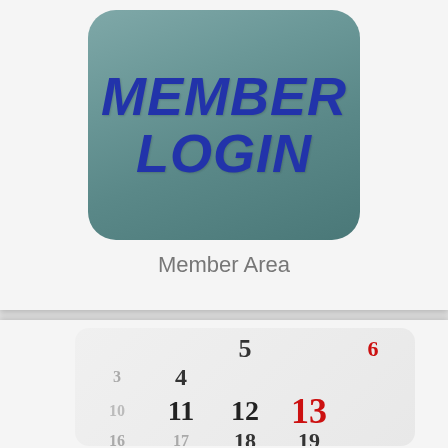[Figure (screenshot): Member Login button with teal/slate rounded rectangle background and bold italic dark blue text reading MEMBER LOGIN]
Member Area
[Figure (photo): Close-up photo of a physical calendar showing dates including 11, 12, 13 (in red), 5, 4, 3, 17, 18, 19 visible with blurred edges]